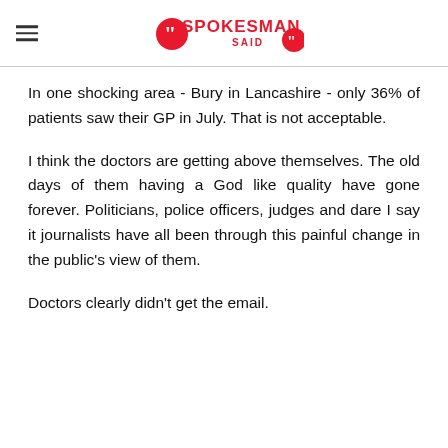A Spokesman Said
In one shocking area - Bury in Lancashire - only 36% of patients saw their GP in July. That is not acceptable.
I think the doctors are getting above themselves. The old days of them having a God like quality have gone forever. Politicians, police officers, judges and dare I say it journalists have all been through this painful change in the public's view of them.
Doctors clearly didn't get the email.